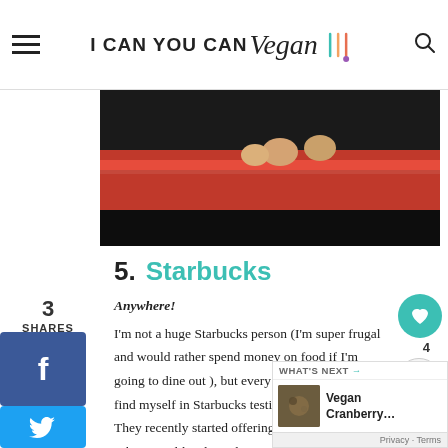I CAN YOU CAN Vegan
[Figure (photo): Close-up photo of food on a red plate/bowl, partially visible at top of content area]
5. Starbucks
Anywhere!
I'm not a huge Starbucks person (I'm super frugal and would rather spend money on food if I'm going to dine out ), but every now and then I'll find myself in Starbucks testing out their d... They recently started offering more milk substitutes like almond, coconut, and soy which